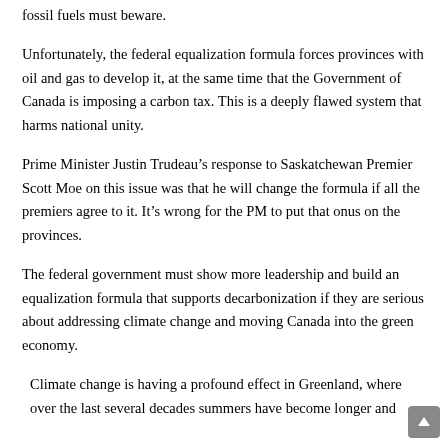fossil fuels must beware.
Unfortunately, the federal equalization formula forces provinces with oil and gas to develop it, at the same time that the Government of Canada is imposing a carbon tax. This is a deeply flawed system that harms national unity.
Prime Minister Justin Trudeau’s response to Saskatchewan Premier Scott Moe on this issue was that he will change the formula if all the premiers agree to it. It’s wrong for the PM to put that onus on the provinces.
The federal government must show more leadership and build an equalization formula that supports decarbonization if they are serious about addressing climate change and moving Canada into the green economy.
Climate change is having a profound effect in Greenland, where over the last several decades summers have become longer and